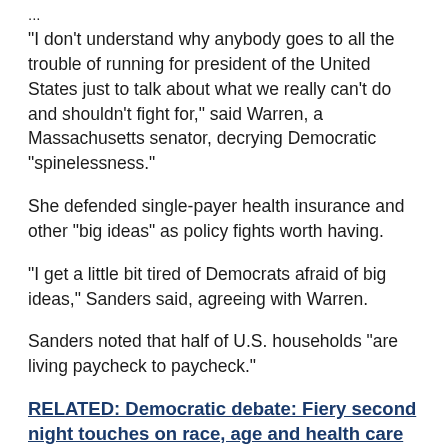...
"I don't understand why anybody goes to all the trouble of running for president of the United States just to talk about what we really can't do and shouldn't fight for," said Warren, a Massachusetts senator, decrying Democratic "spinelessness."
She defended single-payer health insurance and other "big ideas" as policy fights worth having.
"I get a little bit tired of Democrats afraid of big ideas," Sanders said, agreeing with Warren.
Sanders noted that half of U.S. households "are living paycheck to paycheck."
RELATED: Democratic debate: Fiery second night touches on race, age and health care